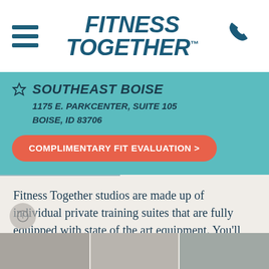FITNESS TOGETHER™
SOUTHEAST BOISE
1175 E. PARKCENTER, SUITE 105
BOISE, ID 83706
COMPLIMENTARY FIT EVALUATION >
Fitness Together studios are made up of individual private training suites that are fully equipped with state of the art equipment. You'll always train in a welcoming, well-kept and premium workout environment with just you, and your trainer.
[Figure (photo): Gym equipment photos strip at the bottom of the page]